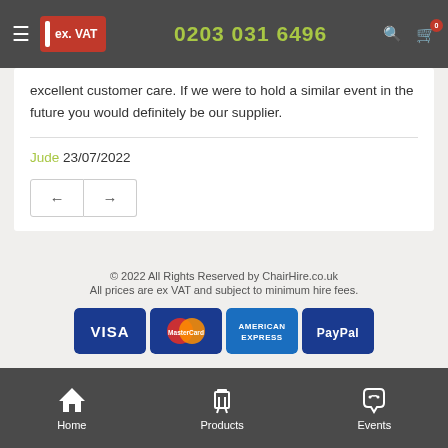ex. VAT  0203 031 6496
excellent customer care. If we were to hold a similar event in the future you would definitely be our supplier.
Jude 23/07/2022
© 2022 All Rights Reserved by ChairHire.co.uk
All prices are ex VAT and subject to minimum hire fees.
[Figure (logo): Payment method logos: VISA, MasterCard, American Express, PayPal]
Home  Products  Events